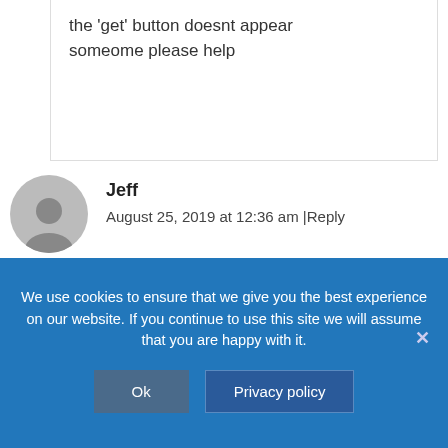the 'get' button doesnt appear someome please help
Jeff
August 25, 2019 at 12:36 am | Reply
Ay me too
We use cookies to ensure that we give you the best experience on our website. If you continue to use this site we will assume that you are happy with it.